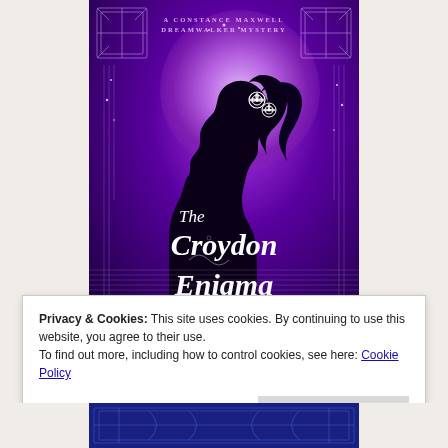[Figure (illustration): Book cover for 'The Croydon Enigma' — A Constance Maxwell Dreamwalker Mystery. Purple background with large moon glow, art deco border decorations, black silhouette of a woman with roses in her hair facing left, title text in white italic serif font. Bottom portion cut off showing partial title.]
Privacy & Cookies: This site uses cookies. By continuing to use this website, you agree to their use.
To find out more, including how to control cookies, see here: Cookie Policy
Close and accept
[Figure (illustration): Bottom strip of book cover showing blue decorative art deco pattern.]